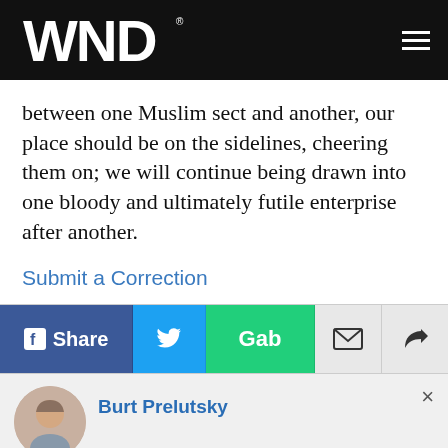WND
between one Muslim sect and another, our place should be on the sidelines, cheering them on; we will continue being drawn into one bloody and ultimately futile enterprise after another.
Submit a Correction
[Figure (infographic): Social share button bar with Facebook Share, Twitter (bird icon), Gab, email envelope, and share arrow buttons]
[Figure (photo): Circular headshot of Burt Prelutsky, an older man smiling]
Burt Prelutsky
[Figure (logo): Accessibility icon - blue circle with wheelchair user symbol]
Advertisement
[Figure (photo): Photo of a dark-haired woman, advertisement image]
10 Stunning Asian Actresses No Man Can Resist